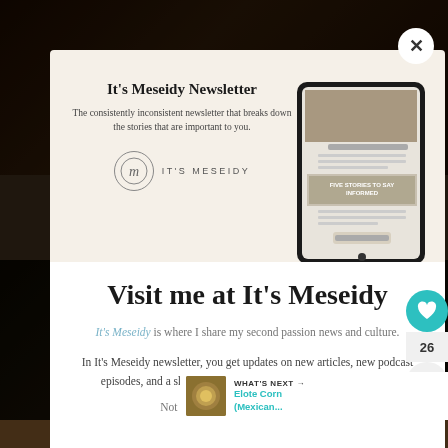[Figure (screenshot): Newsletter modal popup with 'It's Meseidy Newsletter' title, description text, brand logo, and a tablet mockup image on a cream background]
It's Meseidy Newsletter
The consistently inconsistent newsletter that breaks down the stories that are important to you.
[Figure (logo): It's Meseidy circular logo with stylized M and brand name]
Visit me at It's Meseidy
It's Meseidy is where I share my second passion news and culture.
In It's Meseidy newsletter, you get updates on new articles, new podcast episodes, and a short summary of the important news of the w...
Not sure? Read one of the past issues.